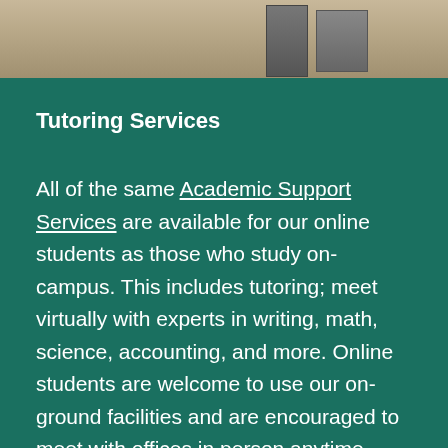[Figure (photo): Outdoor photo strip showing what appears to be chairs or equipment on a sandy surface, viewed from above]
Tutoring Services
All of the same Academic Support Services are available for our online students as those who study on-campus. This includes tutoring; meet virtually with experts in writing, math, science, accounting, and more. Online students are welcome to use our on-ground facilities and are encouraged to meet with offices in person anytime.